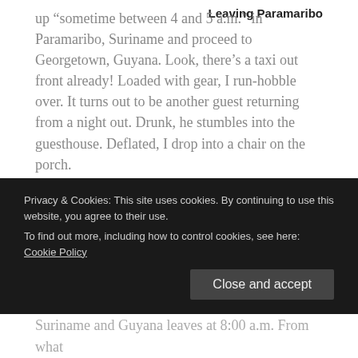Leaving Paramaribo
up “sometime between 4 and 5 a.m.” in Paramaribo, Suriname and proceed to Georgetown, Guyana. Look, there’s a taxi out front already! Loaded with gear, I run-hobble over. It turns out to be another guest returning from a night out. Drunk, he stumbles into the guesthouse. Deflated, I drop into a chair on the porch.
4:30 a.m. – Of course the taxi’s not going to come in the first half of the hour. They’re going to make me
Privacy & Cookies: This site uses cookies. By continuing to use this website, you agree to their use.
To find out more, including how to control cookies, see here: Cookie Policy
Suriname and Guyana leaves at 8:00 a.m. From what